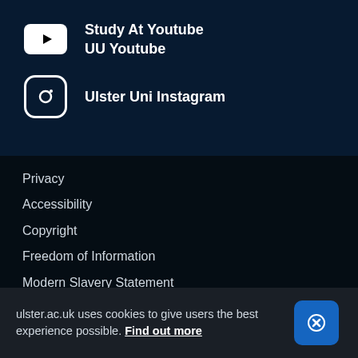Study At Youtube
UU Youtube
Ulster Uni Instagram
Privacy
Accessibility
Copyright
Freedom of Information
Modern Slavery Statement
ulster.ac.uk uses cookies to give users the best experience possible. Find out more